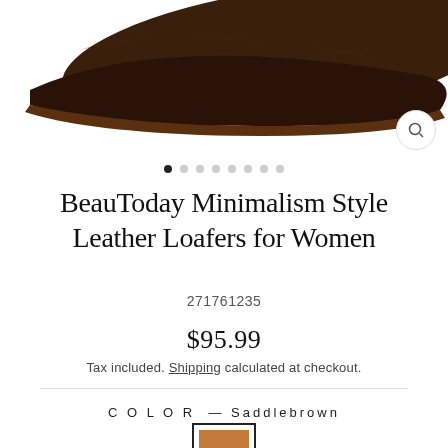[Figure (photo): Close-up photo of a dark brown leather loafer shoe sole/bottom against a white background]
BeauToday Minimalism Style Leather Loafers for Women
271761235
$95.99
Tax included. Shipping calculated at checkout.
COLOR — Saddlebrown
[Figure (illustration): Saddlebrown color swatch square with dark border]